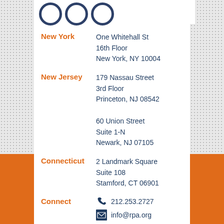[Figure (logo): Partial logo showing three overlapping circles in dark navy blue, cropped at top]
New York
One Whitehall St
16th Floor
New York, NY 10004
New Jersey
179 Nassau Street
3rd Floor
Princeton, NJ 08542

60 Union Street
Suite 1-N
Newark, NJ 07105
Connecticut
2 Landmark Square
Suite 108
Stamford, CT 06901
Connect
212.253.2727
info@rpa.org
Twitter
Instagram